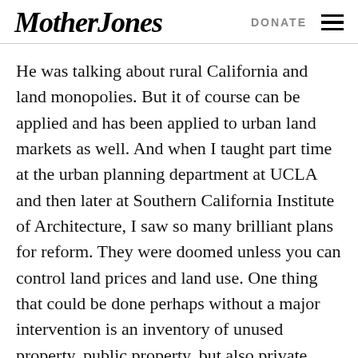Mother Jones  DONATE
He was talking about rural California and land monopolies. But it of course can be applied and has been applied to urban land markets as well. And when I taught part time at the urban planning department at UCLA and then later at Southern California Institute of Architecture, I saw so many brilliant plans for reform. They were doomed unless you can control land prices and land use. One thing that could be done perhaps without a major intervention is an inventory of unused property, public property, but also private properties that have been abandoned. And you allow additional use for nonprofit purposes, for homeless people, for